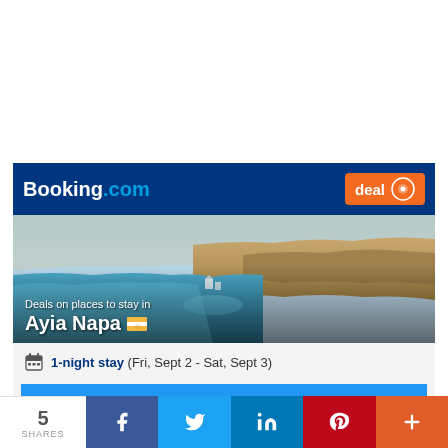[Figure (other): Booking.com advertisement widget showing a coastal aerial view of Ayia Napa with blue water and rocky cliffs. Features Booking.com logo, deal badge, destination image, 1-night stay dates, and See all deals button.]
5 SHARES — social share bar with Facebook, Twitter, LinkedIn, Pinterest, and More buttons